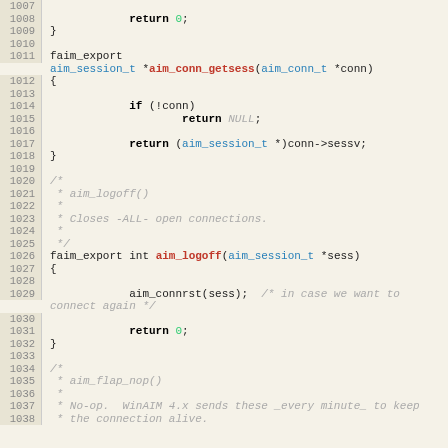Source code listing, lines 1007-1038, C programming language with syntax highlighting showing functions aim_conn_getsess and aim_logoff with comments.